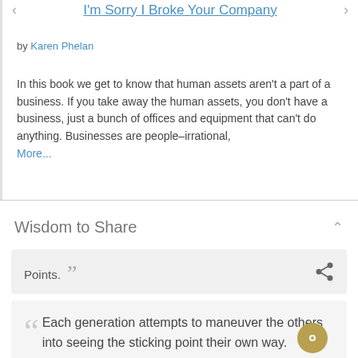I'm Sorry I Broke Your Company
by Karen Phelan
In this book we get to know that human assets aren't a part of a business. If you take away the human assets, you don't have a business, just a bunch of offices and equipment that can't do anything. Businesses are people–irrational, More...
Wisdom to Share
Points. "
" Each generation attempts to maneuver the others into seeing the sticking point their own way.